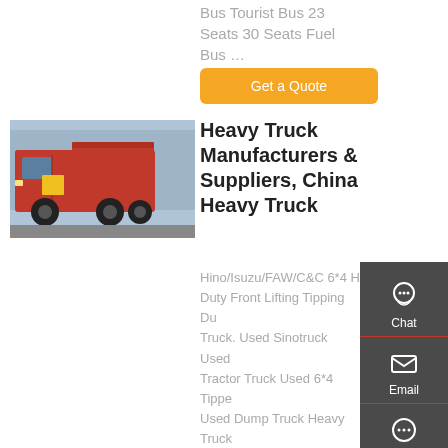Bus Tourist Bus 23 Seats 30 Seats Fuel Bus …
Get a Quote
[Figure (photo): Red heavy dump truck parked outdoors]
Heavy Truck Manufacturers & Suppliers, China Heavy Truck
Hino/Isuzu/FAW/C&C 6*4 Heavy Duty Front Lifting Tipping Dump Truck. Used Sinotruck Used Tractor Truck Used 6*4 Tipper Used Dump Truck Heavy Truck Used Tipper Used 6*4 Truck Used HOWO Truck 371HP
Chat
Email
Contact
Top